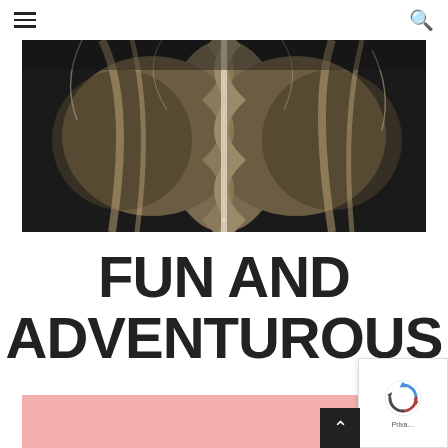Navigation menu and search icon
[Figure (photo): Close-up photo of a woman's braided blonde hair against a dark background, viewed from behind]
FUN AND ADVENTUROUS
[Figure (photo): Bottom portion of an image with a pink/salmon background, partially visible]